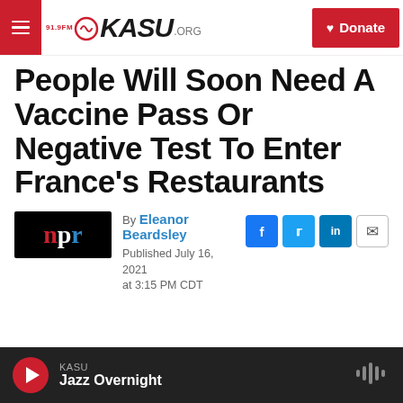919FM KASU.ORG | Donate
People Will Soon Need A Vaccine Pass Or Negative Test To Enter France's Restaurants
By Eleanor Beardsley
Published July 16, 2021 at 3:15 PM CDT
[Figure (logo): NPR logo (n in red, p in white, r in blue on black background)]
[Figure (infographic): Social share buttons: Facebook, Twitter, LinkedIn, Email]
KASU Jazz Overnight